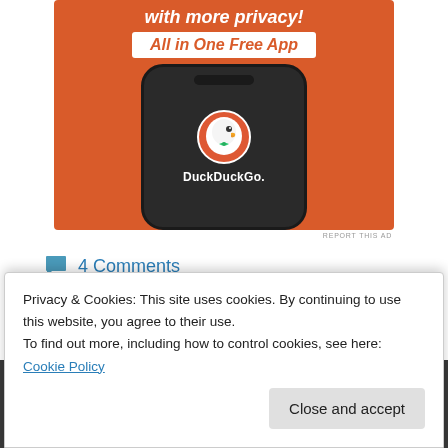[Figure (illustration): DuckDuckGo advertisement showing a smartphone with the DuckDuckGo logo on an orange background. Text reads 'All in One Free App']
REPORT THIS AD
4 Comments
Privacy & Cookies: This site uses cookies. By continuing to use this website, you agree to their use.
To find out more, including how to control cookies, see here: Cookie Policy
Close and accept